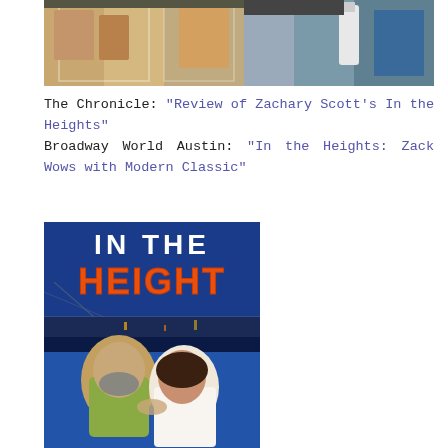[Figure (photo): Top photo showing display cases with memorabilia items, appears to be a theater or entertainment exhibit]
The Chronicle: "Review of Zachary Scott's In the Heights"
Broadway World Austin: "In the Heights: Zack Wows with Modern Classic"
[Figure (photo): Two people posing in front of an 'In the Heights' musical banner/backdrop with a bridge and city scene]